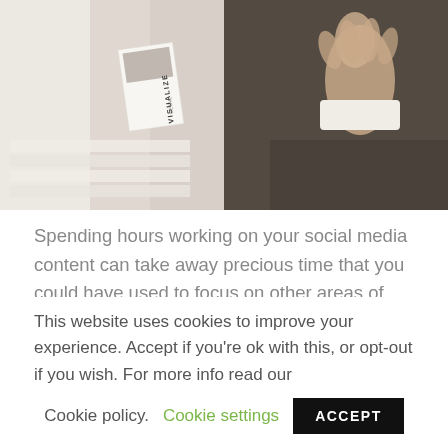[Figure (photo): Top portion of a lifestyle/flat-lay photo showing magazines and a card with 'VISUALIZE' text on the left side, and a person's hands on a dark textured background on the right side.]
Spending hours working on your social media content can take away precious time that you could have used to focus on other areas of your interior design business. However, this needn't be the case when you are using interior design caption templates. In today's blog, we will be taking a look at how caption templates ...
This website uses cookies to improve your experience. Accept if you're ok with this, or opt-out if you wish. For more info read our
Cookie policy.    Cookie settings    ACCEPT